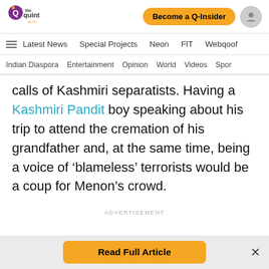The Quint World | Become a Q-Insider
Latest News | Special Projects | Neon | FIT | Webqoof
Indian Diaspora | Entertainment | Opinion | World | Videos | Spor
calls of Kashmiri separatists. Having a Kashmiri Pandit boy speaking about his trip to attend the cremation of his grandfather and, at the same time, being a voice of ‘blameless’ terrorists would be a coup for Menon’s crowd.
ADVERTISEMENT
Read Full Article